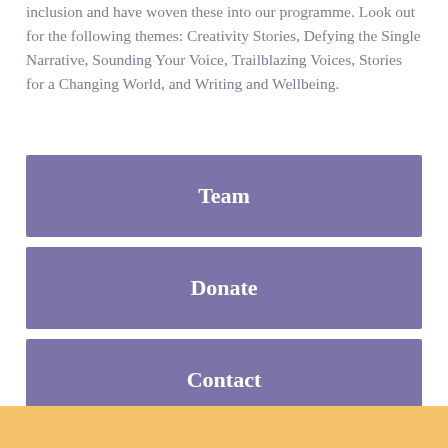inclusion and have woven these into our programme. Look out for the following themes: Creativity Stories, Defying the Single Narrative, Sounding Your Voice, Trailblazing Voices, Stories for a Changing World, and Writing and Wellbeing.
Team
Donate
Contact